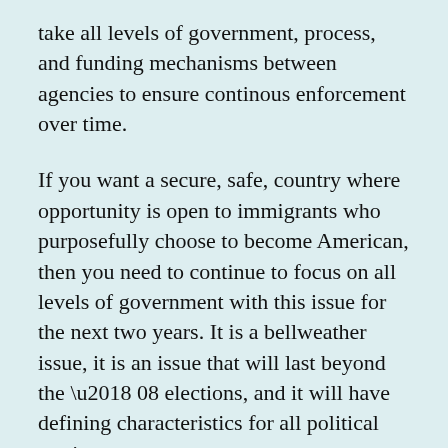take all levels of government, process, and funding mechanisms between agencies to ensure continous enforcement over time.
If you want a secure, safe, country where opportunity is open to immigrants who purposefully choose to become American, then you need to continue to focus on all levels of government with this issue for the next two years. It is a bellweather issue, it is an issue that will last beyond the ‘08 elections, and it will have defining characteristics for all political parties.
One key thing to keep in mind: All Draconian measures will backfire. If harsh measures are